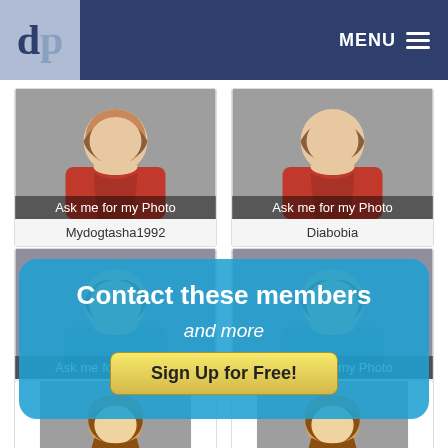dp | MENU
[Figure (illustration): Member card with avatar placeholder 'Ask me for my Photo' and username Mydogtasha1992]
[Figure (illustration): Member card with avatar placeholder 'Ask me for my Photo' and username Diabobia]
[Figure (illustration): Member card with avatar placeholder 'Ask me for my Photo' and username Bardbabe]
[Figure (illustration): Member card with avatar placeholder 'Ask me for my Photo' and username Virgil]
Contact these members
and more
Sign Up for Free!
[Figure (illustration): Member card with female avatar (brown hair) - bottom row left]
[Figure (illustration): Member card with female avatar (brown hair) - bottom row right]